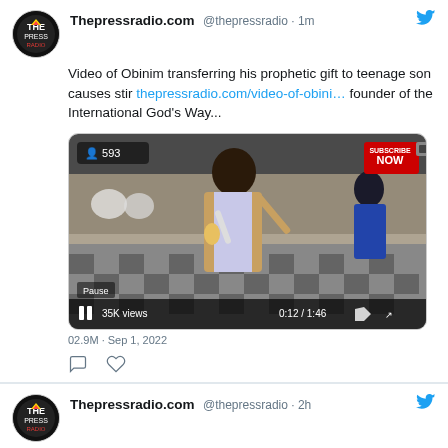Thepressradio.com @thepressradio · 1m
Video of Obinim transferring his prophetic gift to teenage son causes stir thepressradio.com/video-of-obini… founder of the International God's Way...
[Figure (screenshot): Video player screenshot showing a man with a microphone in a church with checkered floor. Shows 593 viewers, 35K views, 0:12 / 1:46 timestamp, Pause button, Subscribe Now button.]
02.9M · Sep 1, 2022
Thepressradio.com @thepressradio · 2h
A recap of the most exciting happenings, news and drama from #BBNaija that trended on #TwitterGhana in August thepressradio.com/a-